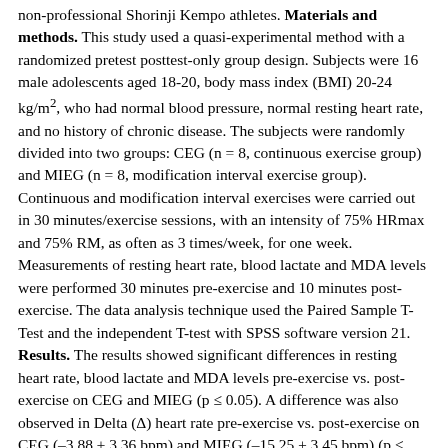non-professional Shorinji Kempo athletes. Materials and methods. This study used a quasi-experimental method with a randomized pretest posttest-only group design. Subjects were 16 male adolescents aged 18-20, body mass index (BMI) 20-24 kg/m2, who had normal blood pressure, normal resting heart rate, and no history of chronic disease. The subjects were randomly divided into two groups: CEG (n = 8, continuous exercise group) and MIEG (n = 8, modification interval exercise group). Continuous and modification interval exercises were carried out in 30 minutes/exercise sessions, with an intensity of 75% HRmax and 75% RM, as often as 3 times/week, for one week. Measurements of resting heart rate, blood lactate and MDA levels were performed 30 minutes pre-exercise and 10 minutes post-exercise. The data analysis technique used the Paired Sample T-Test and the independent T-test with SPSS software version 21. Results. The results showed significant differences in resting heart rate, blood lactate and MDA levels pre-exercise vs. post-exercise on CEG and MIEG (p ≤ 0.05). A difference was also observed in Delta (Δ) heart rate pre-exercise vs. post-exercise on CEG (–3.88 ± 3.36 bpm) and MIEG (–15.25 ± 3.45 bpm) (p ≤ 0.001), but no differences were observed in the Delta (Δ) blood lactate and MDA levels in both groups. Conclusion. Based on the study results, it was shown that continuous exercise and modification interval exercise increase blood lactate and MDA levels shortly after intervention